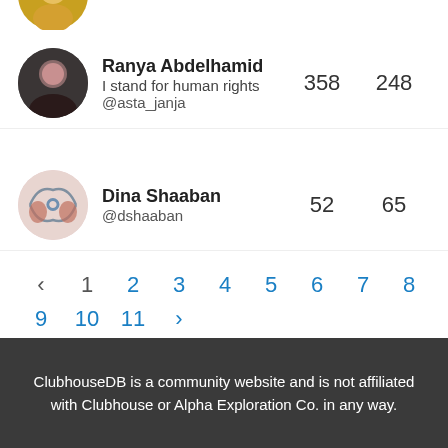[Figure (photo): Partial avatar at top of page (cropped)]
Ranya Abdelhamid
I stand for human rights
@asta_janja
358
248
Dina Shaaban
@dshaaban
52
65
‹ 1 2 3 4 5 6 7 8 9 10 11 ›
ClubhouseDB is a community website and is not affiliated with Clubhouse or Alpha Exploration Co. in any way.